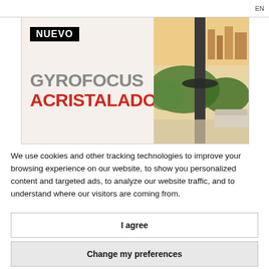EN
[Figure (illustration): Advertisement banner for Gyrofocus Acristalado product. Left side shows 'NUEVO' badge in black box, then large text 'GYROFOCUS' in grey and 'ACRISTALADO' in red. Right side shows a photo of a modern suspended fireplace on an outdoor terrace with city skyline view.]
We use cookies and other tracking technologies to improve your browsing experience on our website, to show you personalized content and targeted ads, to analyze our website traffic, and to understand where our visitors are coming from.
I agree
Change my preferences